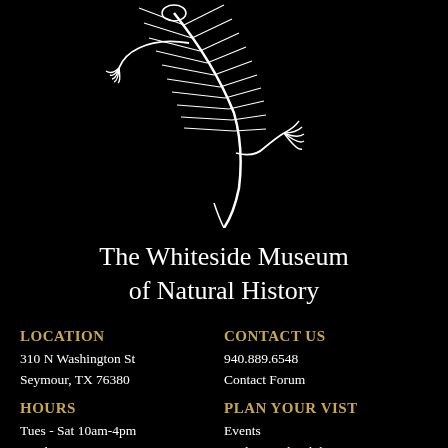[Figure (illustration): White fossil skeleton illustration of a prehistoric creature on black background, showing spine, ribs, and limb bones]
The Whiteside Museum of Natural History
LOCATION
CONTACT US
310 N Washington St
Seymour, TX 76380
940.889.6548
Contact Forum
HOURS
PLAN YOUR VIST
Tues - Sat 10am-4pm
Events
Sunday: 12pm-4pm
Real to Reel Exhibit